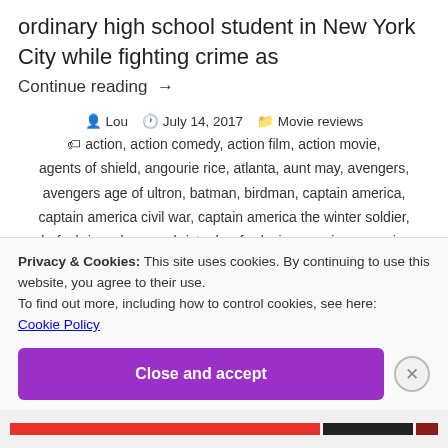ordinary high school student in New York City while fighting crime as
Continue reading →
Lou   July 14, 2017   Movie reviews
action, action comedy, action film, action movie, agents of shield, angourie rice, atlanta, aunt may, avengers, avengers age of ultron, batman, birdman, captain america, captain america civil war, captain america the winter soldier, chef, chris mckenna, christopher ford, cinema, cinema review
Privacy & Cookies: This site uses cookies. By continuing to use this website, you agree to their use.
To find out more, including how to control cookies, see here: Cookie Policy
Close and accept